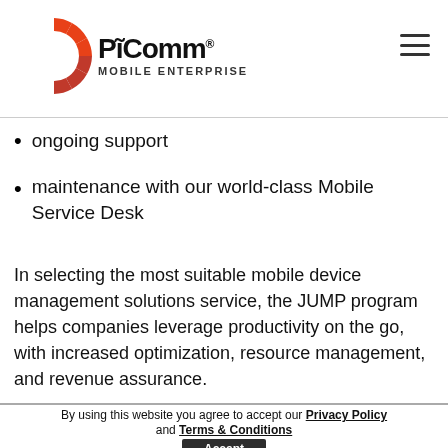PiiComm Mobile Enterprise
ongoing support
maintenance with our world-class Mobile Service Desk
In selecting the most suitable mobile device management solutions service, the JUMP program helps companies leverage productivity on the go, with increased optimization, resource management, and revenue assurance.
By using this website you agree to accept our Privacy Policy and Terms & Conditions Accept